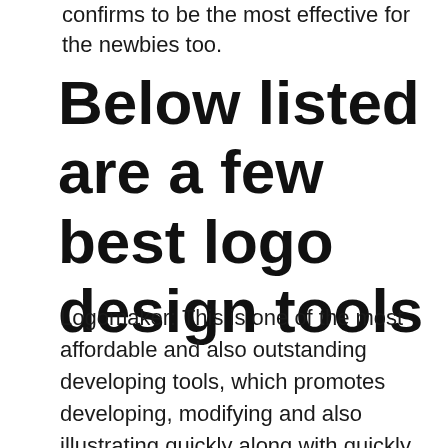confirms to be the most effective for the newbies too.
Below listed are a few best logo design tools
Logomaker: This is one of the most affordable and also outstanding developing tools, which promotes developing, modifying and also illustrating quickly along with quickly. It has the best library collection of symbols as well as results that makes it possible for developing magnificent logo designs easily. Some of the attributes of this tool include: